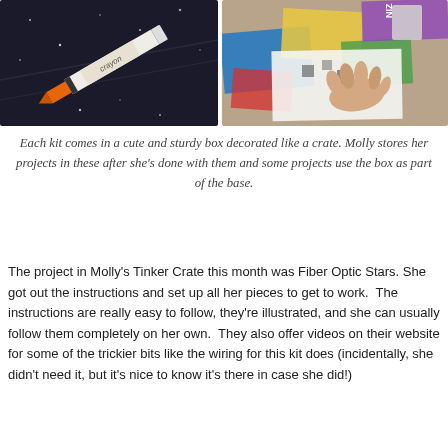[Figure (photo): Two photos side by side: left photo shows a white and orange crayon labeled 'crayon' on a dark background with small white stars; right photo shows a child's hand touching colorful papers and craft materials on a table.]
Each kit comes in a cute and sturdy box decorated like a crate. Molly stores her projects in these after she's done with them and some projects use the box as part of the base.
The project in Molly's Tinker Crate this month was Fiber Optic Stars. She got out the instructions and set up all her pieces to get to work. The instructions are really easy to follow, they're illustrated, and she can usually follow them completely on her own. They also offer videos on their website for some of the trickier bits like the wiring for this kit does (incidentally, she didn't need it, but it's nice to know it's there in case she did!)